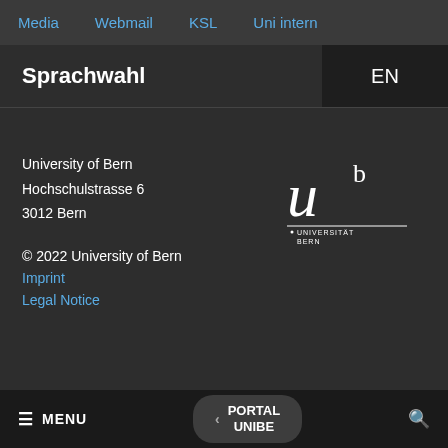Media  Webmail  KSL  Uni intern
Sprachwahl
EN
University of Bern
Hochschulstrasse 6
3012 Bern
[Figure (logo): University of Bern logo: stylized italic 'u' with superscript 'b', below a horizontal line with 'UNIVERSITÄT BERN' text]
© 2022 University of Bern
Imprint
Legal Notice
≡ MENU  ‹ PORTAL UNIBE  🔍